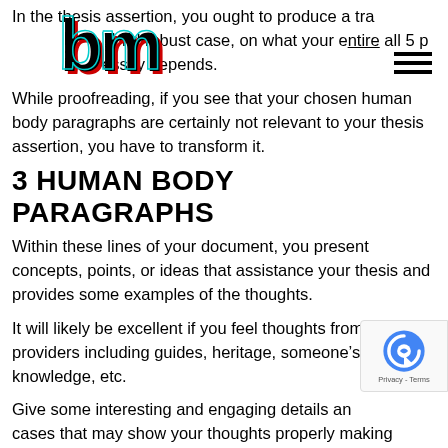In the thesis assertion, you ought to produce a transparent and robust case, on what your entire all 5 paragraph essay depends.
[Figure (logo): Bold stylized 3D logo watermark in black and red, overlaid on top of the text]
While proofreading, if you see that your chosen human body paragraphs are certainly not relevant to your thesis assertion, you have to transform it.
3 HUMAN BODY PARAGRAPHS
Within these lines of your document, you present concepts, points, or ideas that assistance your thesis and provides some examples of the thoughts.
It will likely be excellent if you feel thoughts from several providers including guides, heritage, someone’s knowledge, etc.
Give some interesting and engaging details and cases that may show your thoughts properly making
[Figure (other): reCAPTCHA badge with Privacy - Terms text]